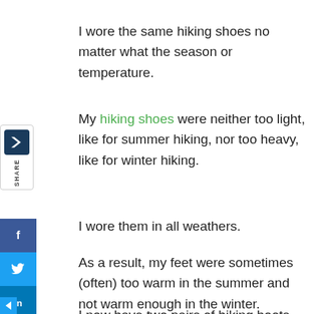I wore the same hiking shoes no matter what the season or temperature.
[Figure (infographic): Social share sidebar with Strava-like icon and SHARE label, plus Facebook, Twitter, LinkedIn, Pinterest, Reddit social media buttons]
My hiking shoes were neither too light, like for summer hiking, nor too heavy, like for winter hiking.
I wore them in all weathers.
As a result, my feet were sometimes (often) too warm in the summer and not warm enough in the winter.
I now have two pairs of hiking boots, one that I use in the warm spring and summer,